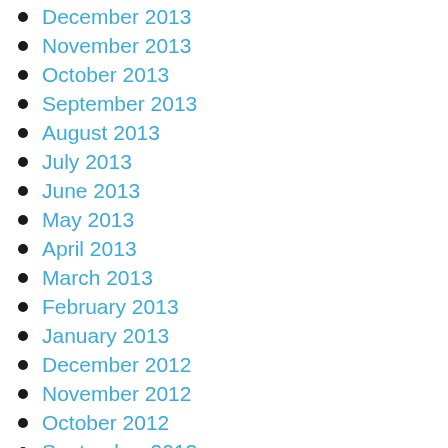December 2013
November 2013
October 2013
September 2013
August 2013
July 2013
June 2013
May 2013
April 2013
March 2013
February 2013
January 2013
December 2012
November 2012
October 2012
September 2012
August 2012